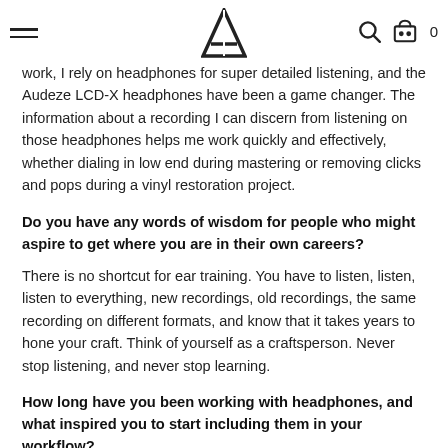Navigation header with hamburger menu, logo (A), search icon, and cart icon with count 0
work, I rely on headphones for super detailed listening, and the Audeze LCD-X headphones have been a game changer. The information about a recording I can discern from listening on those headphones helps me work quickly and effectively, whether dialing in low end during mastering or removing clicks and pops during a vinyl restoration project.
Do you have any words of wisdom for people who might aspire to get where you are in their own careers?
There is no shortcut for ear training. You have to listen, listen, listen to everything, new recordings, old recordings, the same recording on different formats, and know that it takes years to hone your craft. Think of yourself as a craftsperson. Never stop listening, and never stop learning.
How long have you been working with headphones, and what inspired you to start including them in your workflow?